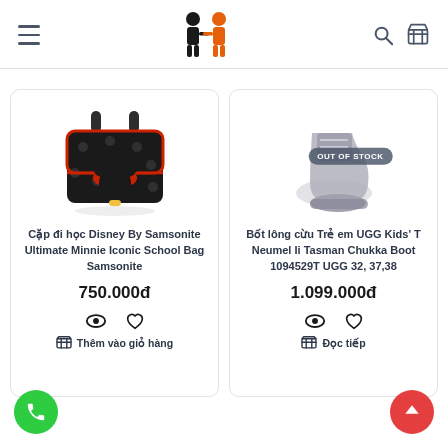Navigation header with menu, logo, search, cart
[Figure (screenshot): Minnie Mouse Disney Samsonite school bag product image - black with polka dots and red bow]
Cặp đi học Disney By Samsonite Ultimate Minnie Iconic School Bag Samsonite
750.000đ
Thêm vào giỏ hàng
[Figure (screenshot): UGG Kids boot product image - gray/silver boot, shown out of stock]
Bốt lông cừu Trẻ em UGG Kids' T Neumel Ii Tasman Chukka Boot 1094529T UGG 32, 37,38
1.099.000đ
Đọc tiếp